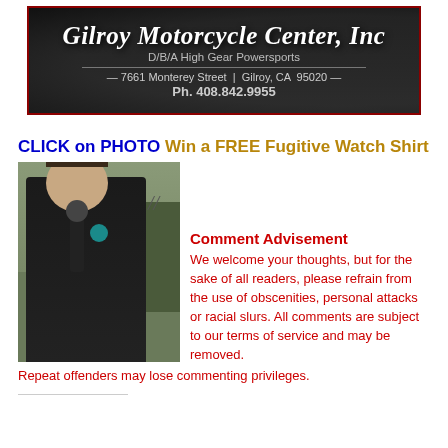[Figure (logo): Gilroy Motorcycle Center, Inc banner with dark background, showing business name in italic white text, D/B/A High Gear Powersports, address 7661 Monterey Street, Gilroy, CA 95020, and phone Ph. 408.842.9955]
CLICK on PHOTO Win a FREE Fugitive Watch Shirt
[Figure (photo): Man in black polo shirt holding a microphone, standing outdoors in front of a building, appears to be a reporter or TV host]
Comment Advisement
We welcome your thoughts, but for the sake of all readers, please refrain from the use of obscenities, personal attacks or racial slurs. All comments are subject to our terms of service and may be removed. Repeat offenders may lose commenting privileges.